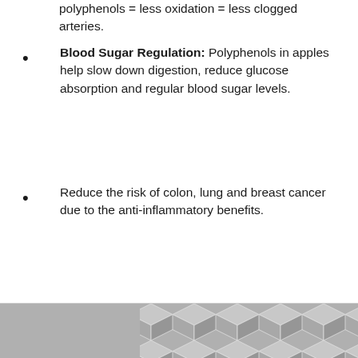polyphenols = less oxidation = less clogged arteries.
Blood Sugar Regulation: Polyphenols in apples help slow down digestion, reduce glucose absorption and regular blood sugar levels.
Reduce the risk of colon, lung and breast cancer due to the anti-inflammatory benefits.
[Figure (illustration): Decorative geometric hexagon pattern in grey tones at the bottom of the page]